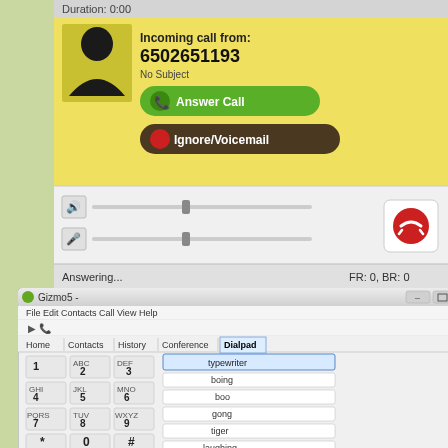[Figure (screenshot): Incoming VoIP call notification window showing caller number 6502651193, Answer Call and Ignore/Voicemail buttons, volume/mic sliders, and status bar showing Answering... FR: 0, BR: 0]
[Figure (screenshot): Gizmo5 softphone application window showing dialpad tab with numeric keypad and ringtone/sound selection list including typewriter, boing, boo, gong, tiger, laughing, tres, and Customize Blasts button]